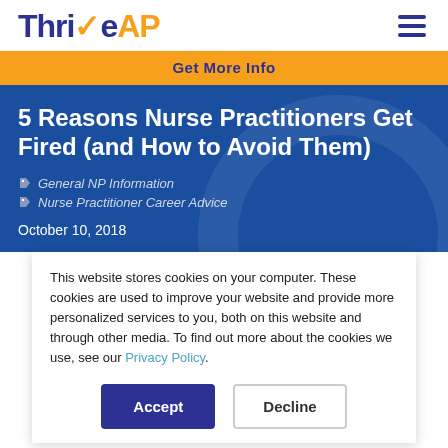ThriveAP
Get More Info
5 Reasons Nurse Practitioners Get Fired (and How to Avoid Them)
General NP Information
Nurse Practitioner Career Advice
October 10, 2018
This website stores cookies on your computer. These cookies are used to improve your website and provide more personalized services to you, both on this website and through other media. To find out more about the cookies we use, see our Privacy Policy.
Accept  Decline